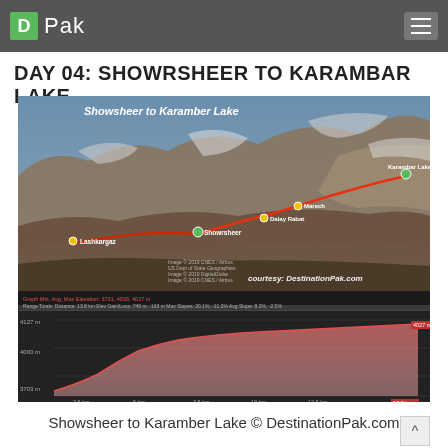D Pak
DAY 04: SHOWRSHEER TO KARAMBAR LAKE
[Figure (map): 3D satellite map showing trekking route from Showsheer to Karamber Lake with elevation profile chart below. Route marked in orange/red, waypoints labeled: Lashkargaz, Showrsheer, Dalay Rabat, Marech, and Karambar Lake. Courtesy: DestinationPak.com]
Showsheer to Karamber Lake © DestinationPak.com